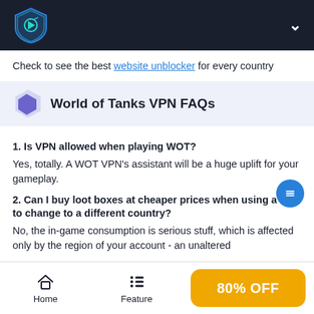World of Tanks VPN — site header with logo
Check to see the best website unblocker for every country
World of Tanks VPN FAQs
1. Is VPN allowed when playing WOT?
Yes, totally. A WOT VPN's assistant will be a huge uplift for your gameplay.
2. Can I buy loot boxes at cheaper prices when using a VPN to change to a different country?
No, the in-game consumption is serious stuff, which is affected only by the region of your account - an unaltered
Home | Feature | 80% OFF